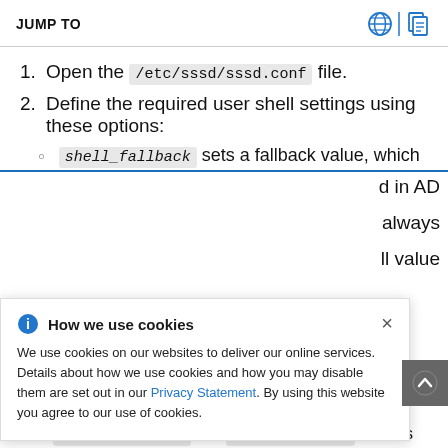JUMP TO
Open the /etc/sssd/sssd.conf file.
Define the required user shell settings using these options:
shell_fallback sets a fallback value, which [is used] in AD [and] always [available as a] ll value
How we use cookies
We use cookies on our websites to deliver our online services. Details about how we use cookies and how you may disable them are set out in our Privacy Statement. By using this website you agree to our use of cookies.
allowed_shells and vetoed_shells set lists